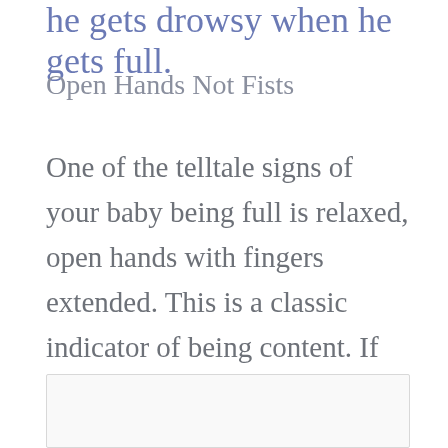he gets drowsy when he gets full.
Open Hands Not Fists
One of the telltale signs of your baby being full is relaxed, open hands with fingers extended. This is a classic indicator of being content. If your baby's hands are bunched in a fist, chances are he is still hungry.
[Figure (photo): Image box at bottom of page, partially visible]